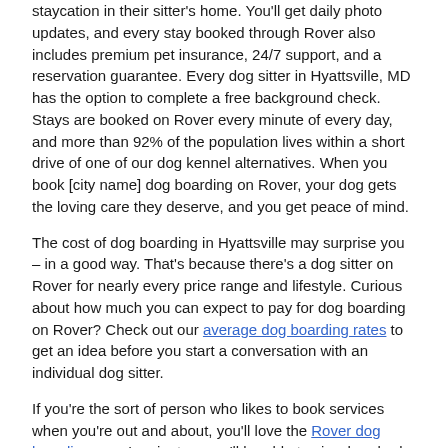staycation in their sitter's home. You'll get daily photo updates, and every stay booked through Rover also includes premium pet insurance, 24/7 support, and a reservation guarantee. Every dog sitter in Hyattsville, MD has the option to complete a free background check. Stays are booked on Rover every minute of every day, and more than 92% of the population lives within a short drive of one of our dog kennel alternatives. When you book [city name] dog boarding on Rover, your dog gets the loving care they deserve, and you get peace of mind.
The cost of dog boarding in Hyattsville may surprise you – in a good way. That's because there's a dog sitter on Rover for nearly every price range and lifestyle. Curious about how much you can expect to pay for dog boarding on Rover? Check out our average dog boarding rates to get an idea before you start a conversation with an individual dog sitter.
If you're the sort of person who likes to book services when you're out and about, you'll love the Rover dog boarding app. In minutes, you'll be able to view hundreds of experienced dog sitters no matter where you are, or re–book on–demand with your puppy's favorite dog sitter. You'll get to check in in real–time to see how your dog's day is going, with the photo updates feature from your dog sitter via the Rover dog boarding app. And if you hate carrying cash, or calculating tips, you'll love the Rover app's cashless payment feature which enables fast...